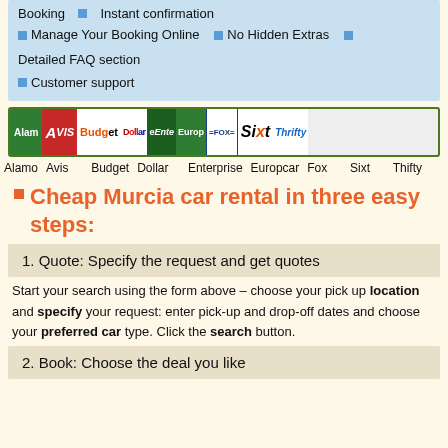Booking  Instant confirmation
Manage Your Booking Online  No Hidden Extras  Detailed FAQ section
Customer support
[Figure (logo): Car rental brand logos: Alamo, Avis, Budget, Dollar, Enterprise, Europcar, Fox, Sixt, Thrifty]
Alamo Avis  Budget Dollar  Enterprise Europcar Fox  Sixt  Thifty
Cheap Murcia car rental in three easy steps:
1. Quote: Specify the request and get quotes
Start your search using the form above – choose your pick up location and specify your request: enter pick-up and drop-off dates and choose your preferred car type. Click the search button.
2. Book: Choose the deal you like